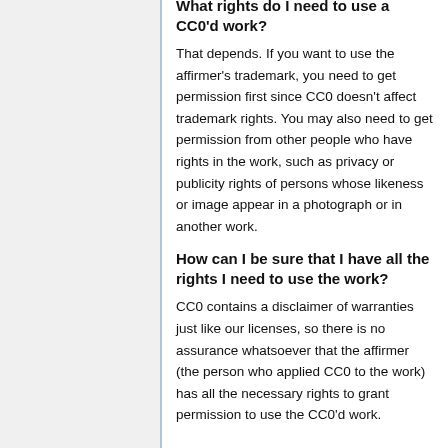What rights do I need to use a CC0'd work?
That depends. If you want to use the affirmer's trademark, you need to get permission first since CC0 doesn't affect trademark rights. You may also need to get permission from other people who have rights in the work, such as privacy or publicity rights of persons whose likeness or image appear in a photograph or in another work.
How can I be sure that I have all the rights I need to use the work?
CC0 contains a disclaimer of warranties just like our licenses, so there is no assurance whatsoever that the affirmer (the person who applied CC0 to the work) has all the necessary rights to grant permission to use the CC0'd work.